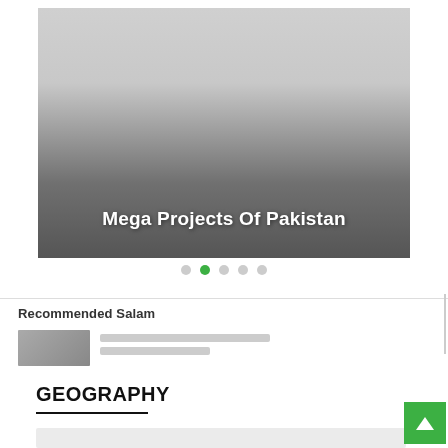[Figure (screenshot): Slideshow banner image with gradient from light gray at top to dark gray at bottom, showing the title 'Mega Projects Of Pakistan' in white bold text near the bottom center]
Mega Projects Of Pakistan
Recommended Salam
GEOGRAPHY